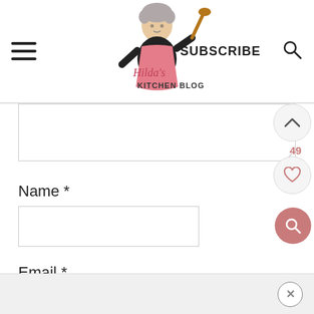Hilda's Kitchen Blog — SUBSCRIBE
Name *
Email *
[Figure (screenshot): Comment form with Name and Email input fields, a checkbox, and floating action buttons (up arrow, 49, heart, search). Header shows Hilda's Kitchen Blog logo with SUBSCRIBE and search icon.]